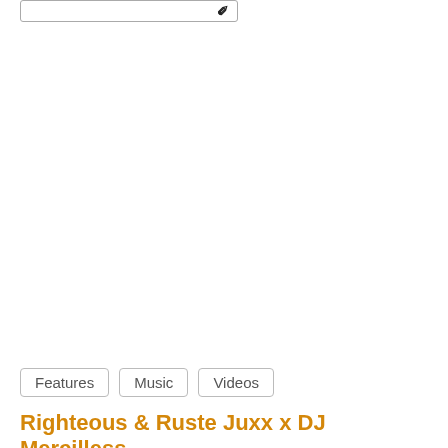[Figure (other): Partial view of a bordered box/input field with an icon on the right, cropped at the top of the page]
Features
Music
Videos
Righteous & Ruste Juxx x DJ Mercilless